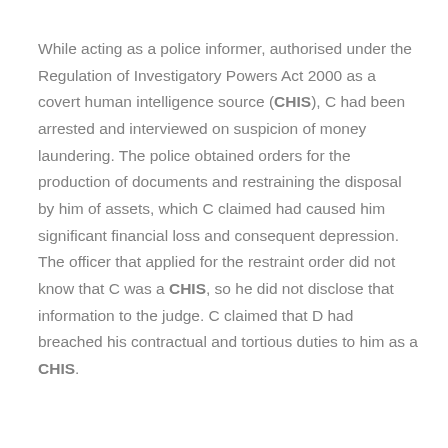While acting as a police informer, authorised under the Regulation of Investigatory Powers Act 2000 as a covert human intelligence source (CHIS), C had been arrested and interviewed on suspicion of money laundering. The police obtained orders for the production of documents and restraining the disposal by him of assets, which C claimed had caused him significant financial loss and consequent depression. The officer that applied for the restraint order did not know that C was a CHIS, so he did not disclose that information to the judge. C claimed that D had breached his contractual and tortious duties to him as a CHIS.